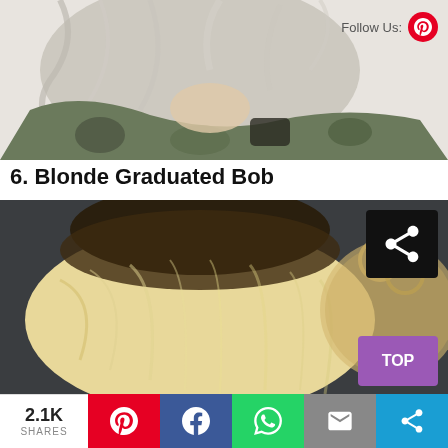[Figure (photo): Close-up back view of a person with blonde/ash wavy hair pulled up, wearing a camouflage jacket. White background.]
Follow Us:
6. Blonde Graduated Bob
[Figure (photo): Close-up top/back view of a blonde graduated bob hairstyle with dark roots, against a dark background. A round mirror and a share icon overlay are visible.]
TOP
2.1K SHARES